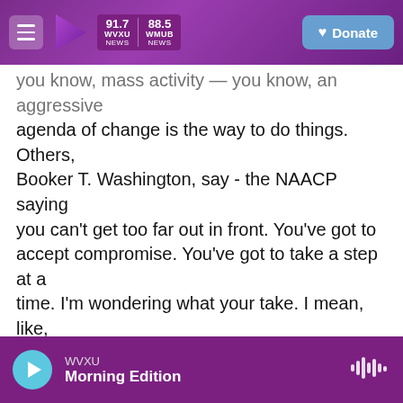91.7 WVXU NEWS | 88.5 WMUB NEWS | Donate
you know, mass activity — you know, an aggressive agenda of change is the way to do things. Others, Booker T. Washington, say - the NAACP saying you can't get too far out in front. You've got to accept compromise. You've got to take a step at a time. I'm wondering what your take. I mean, like, the NAACP focused a lot on lawsuits and, you know, administrative changing. I mean, was there a place for both? Should they have worked together more?

GREENIDGE: I would say that the historical record and the record of somebody like Trotter would say that...
WVXU — Morning Edition